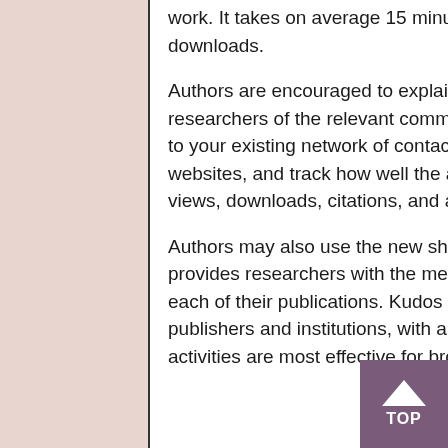work. It takes on average 15 minutes and leads to 23% higher growth in full-text downloads.
Authors are encouraged to explain their work in clear English and to attract researchers of the relevant communities, share a trackable link that you can email to your existing network of contacts, or share on social media and academic websites, and track how well the articles are performing through the summary of views, downloads, citations, and altmetrics on the Kudos dashboard.
Authors may also use the new shareable PDF (S-PDF) service. The S-PDF provides researchers with the means to write and share a high-level overview for each of their publications. Kudos thereby provides researchers, and their publishers and institutions, with a rich understanding of which channels and activities are most effective for broadening the reach and